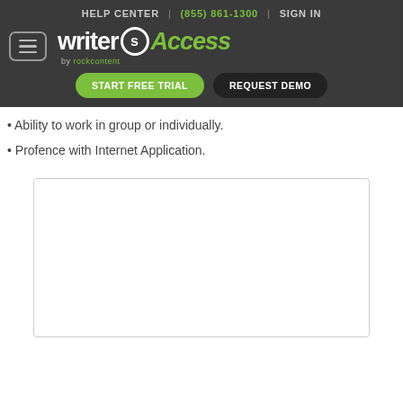HELP CENTER | (855) 861-1300 | SIGN IN
[Figure (logo): WriterAccess by rockcontent logo with hamburger menu button, START FREE TRIAL and REQUEST DEMO buttons]
• Ability to work in group or individually.
• Profence with Internet Application.
[Figure (other): Empty white card/box with light gray border]